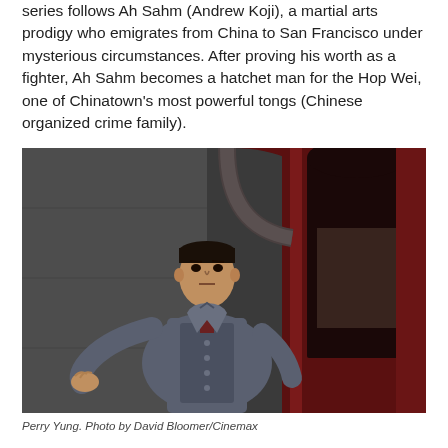series follows Ah Sahm (Andrew Koji), a martial arts prodigy who emigrates from China to San Francisco under mysterious circumstances. After proving his worth as a fighter, Ah Sahm becomes a hatchet man for the Hop Wei, one of Chinatown's most powerful tongs (Chinese organized crime family).
[Figure (photo): Perry Yung, a man in a grey traditional Chinese-style suit, standing in a doorway with a red wooden door frame and arched stone wall, looking intensely at the camera with one hand on the wall.]
Perry Yung. Photo by David Bloomer/Cinemax